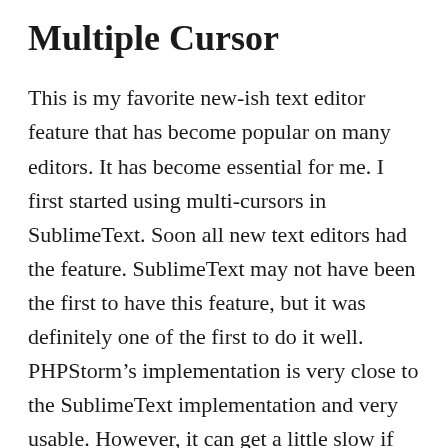Multiple Cursor
This is my favorite new-ish text editor feature that has become popular on many editors. It has become essential for me. I first started using multi-cursors in SublimeText. Soon all new text editors had the feature. SublimeText may not have been the first to have this feature, but it was definitely one of the first to do it well. PHPStorm’s implementation is very close to the SublimeText implementation and very usable. However, it can get a little slow if you are trying to use more than 20 or so cursors. SublimeText doesn’t get slow for me until I’m using about 1500 cursors. However, I rarely need more than ten. So PHPStorm’s implementation works well for most things. If I